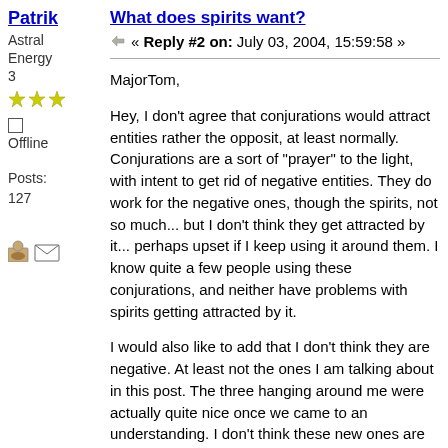Patrik
Astral Energy 3
Offline
Posts: 127
What does spirits want?
« Reply #2 on: July 03, 2004, 15:59:58 »
MajorTom,
Hey, I don't agree that conjurations would attract entities rather the opposit, at least normally. Conjurations are a sort of "prayer" to the light, with intent to get rid of negative entities. They do work for the negative ones, though the spirits, not so much... but I don't think they get attracted by it... perhaps upset if I keep using it around them. I know quite a few people using these conjurations, and neither have problems with spirits getting attracted by it.
I would also like to add that I don't think they are negative. At least not the ones I am talking about in this post. The three hanging around me were actually quite nice once we came to an understanding. I don't think these new ones are negative either, but neither do I